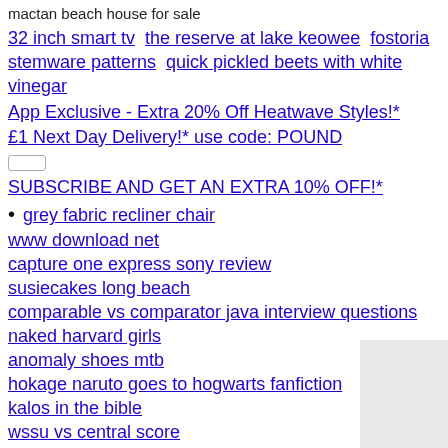mactan beach house for sale
32 inch smart tv   the reserve at lake keowee   fostoria stemware patterns   quick pickled beets with white vinegar
App Exclusive - Extra 20% Off Heatwave Styles!*
£1 Next Day Delivery!* use code: POUND
SUBSCRIBE AND GET AN EXTRA 10% OFF!*
grey fabric recliner chair
www download net
capture one express sony review
susiecakes long beach
comparable vs comparator java interview questions
naked harvard girls
anomaly shoes mtb
hokage naruto goes to hogwarts fanfiction
kalos in the bible
wssu vs central score
weaving loom uk
messages on hosea
magical doll house
free proxy server list germany
ottawa contemporary furniture
fatal bicycle accident
almond milk with coconut oil
ranger cranks but wont start